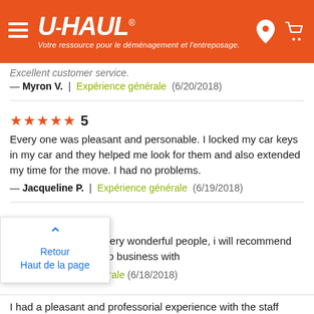U-HAUL — Votre ressource pour le déménagement et l'entreposage.
Excellent customer service.
— Myron V. | Expérience générale (6/20/2018)
★★★★★ 5
Every one was pleasant and personable. I locked my car keys in my car and they helped me look for them and also extended my time for the move. I had no problems.
— Jacqueline P. | Expérience générale (6/19/2018)
★★★★★ 5
The associate s are very wonderful people, i will recommend them to anybody to do business with
— [name] | Expérience générale (6/18/2018)
Retour Haut de la page
I had a pleasant and professorial experience with the staff